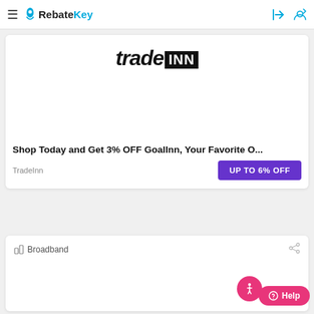RebateKey
[Figure (logo): TradeINN logo with 'trade' in italic bold and 'INN' in white on black background]
Shop Today and Get 3% OFF GoalInn, Your Favorite O...
TradeInn
UP TO 6% OFF
Broadband
Help